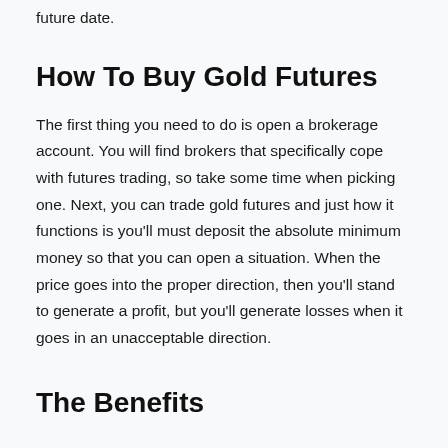future date.
How To Buy Gold Futures
The first thing you need to do is open a brokerage account. You will find brokers that specifically cope with futures trading, so take some time when picking one. Next, you can trade gold futures and just how it functions is you'll must deposit the absolute minimum money so that you can open a situation. When the price goes into the proper direction, then you'll stand to generate a profit, but you'll generate losses when it goes in an unacceptable direction.
The Benefits